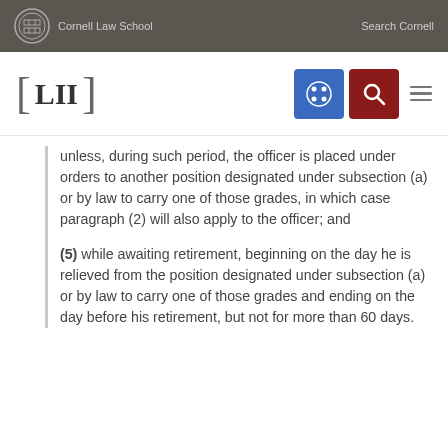Cornell Law School | Search Cornell
[Figure (logo): LII Legal Information Institute logo with Cornell Law School navigation bar including blue grid icon and red search icon]
unless, during such period, the officer is placed under orders to another position designated under subsection (a) or by law to carry one of those grades, in which case paragraph (2) will also apply to the officer; and
(5) while awaiting retirement, beginning on the day he is relieved from the position designated under subsection (a) or by law to carry one of those grades and ending on the day before his retirement, but not for more than 60 days.